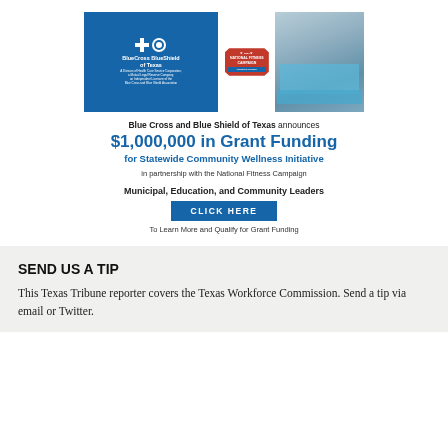[Figure (photo): Blue Cross Blue Shield of Texas advertisement banner with BCBS logo on blue background, National Fitness Campaign badge in red, and outdoor fitness court photo on right]
Blue Cross and Blue Shield of Texas announces
$1,000,000 in Grant Funding for Statewide Community Wellness Initiative
in partnership with the National Fitness Campaign
Municipal, Education, and Community Leaders
CLICK HERE
To Learn More and Qualify for Grant Funding
SEND US A TIP
This Texas Tribune reporter covers the Texas Workforce Commission. Send a tip via email or Twitter.